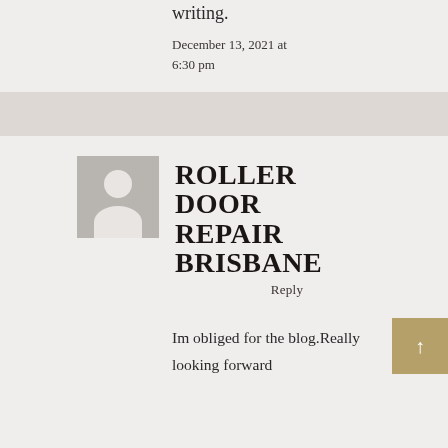writing.
December 13, 2021 at 6:30 pm
ROLLER DOOR REPAIR BRISBANE
Reply
Im obliged for the blog.Really looking forward